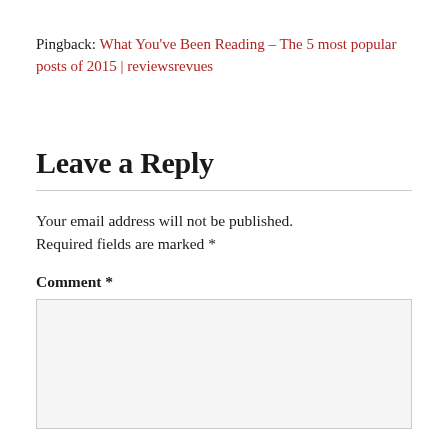Pingback: What You've Been Reading – The 5 most popular posts of 2015 | reviewsrevues
Leave a Reply
Your email address will not be published. Required fields are marked *
Comment *